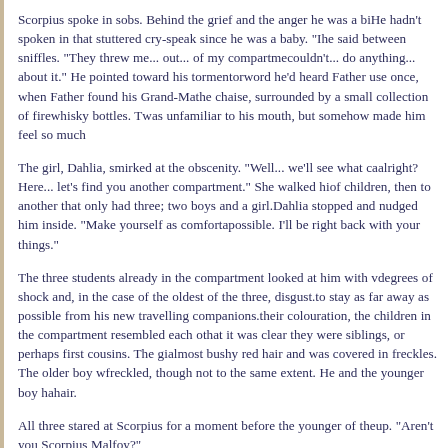Scorpius spoke in sobs. Behind the grief and the anger he was a bi... He hadn't spoken in that stuttered cry-speak since he was a baby. "I... he said between sniffles. "They threw me... out... of my compartme... couldn't... do anything... about it." He pointed toward his tormentor... word he'd heard Father use once, when Father found his Grand-Ma... the chaise, surrounded by a small collection of firewhisky bottles. T... was unfamiliar to his mouth, but somehow made him feel so much...
The girl, Dahlia, smirked at the obscenity. "Well... we'll see what ca... alright? Here... let's find you another compartment." She walked hi... of children, then to another that only had three; two boys and a girl. Dahlia stopped and nudged him inside. "Make yourself as comforta... possible. I'll be right back with your things."
The three students already in the compartment looked at him with v... degrees of shock and, in the case of the oldest of the three, disgust. ... to stay as far away as possible from his new travelling companions. ... their colouration, the children in the compartment resembled each o... that it was clear they were siblings, or perhaps first cousins. The gi... almost bushy red hair and was covered in freckles. The older boy w... freckled, though not to the same extent. He and the younger boy ha... hair.
All three stared at Scorpius for a moment before the younger of the... up. "Aren't you Scorpius Malfoy?"